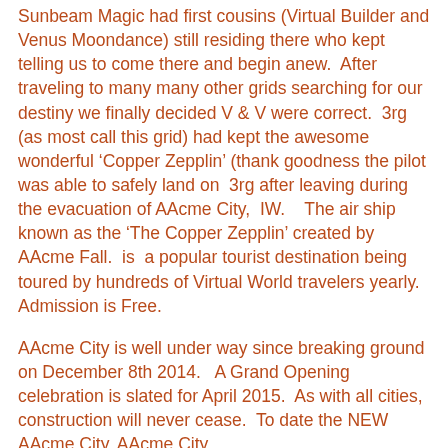Sunbeam Magic had first cousins (Virtual Builder and Venus Moondance) still residing there who kept telling us to come there and begin anew.  After traveling to many many other grids searching for our destiny we finally decided V & V were correct.  3rg (as most call this grid) had kept the awesome wonderful ‘Copper Zepplin’ (thank goodness the pilot was able to safely land on  3rg after leaving during the evacuation of AAcme City,  IW.    The air ship known as the ‘The Copper Zepplin’ created by  AAcme Fall.  is  a popular tourist destination being toured by hundreds of Virtual World travelers yearly.  Admission is Free.
AAcme City is well under way since breaking ground on December 8th 2014.   A Grand Opening celebration is slated for April 2015.  As with all cities, construction will never cease.  To date the NEW AAcme City, AAcme City